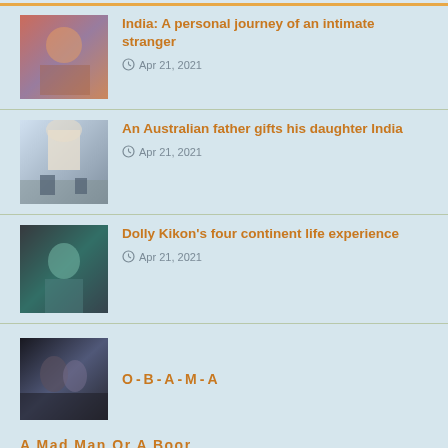[Figure (photo): Thumbnail image of people at what appears to be an Indian wedding or festival with colorful decorations]
India: A personal journey of an intimate stranger
Apr 21, 2021
[Figure (photo): Thumbnail image of the Taj Mahal with people in the foreground]
An Australian father gifts his daughter India
Apr 21, 2021
[Figure (photo): Thumbnail image of a woman on stairs]
Dolly Kikon's four continent life experience
Apr 21, 2021
[Figure (photo): Thumbnail image of two people in close embrace, dark tones]
O-B-A-M-A
A Mad Man Or A Boor
Good Girls Don't Drink?